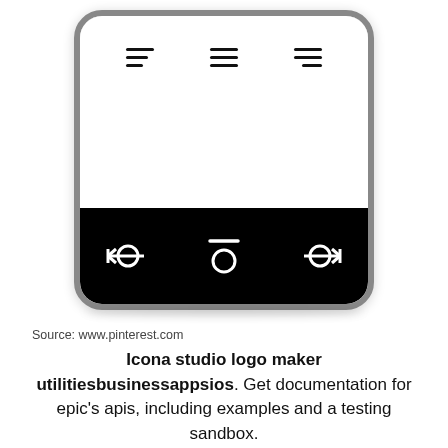[Figure (screenshot): A smartphone screen mockup showing three hamburger/menu icons at the top on a white background, and a black taskbar at the bottom with three navigation icons: back, home (with overline), and forward.]
Source: www.pinterest.com
Icona studio logo maker utilitiesbusinessappsios. Get documentation for epic's apis, including examples and a testing sandbox.